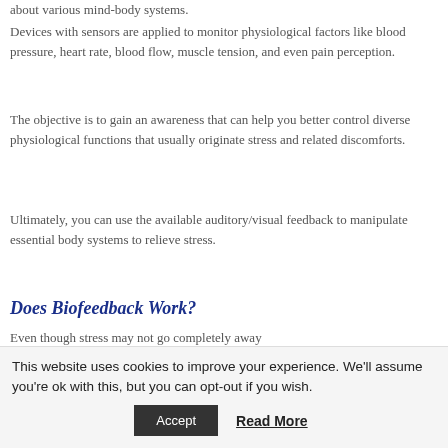about various mind-body systems.
Devices with sensors are applied to monitor physiological factors like blood pressure, heart rate, blood flow, muscle tension, and even pain perception.
The objective is to gain an awareness that can help you better control diverse physiological functions that usually originate stress and related discomforts.
Ultimately, you can use the available auditory/visual feedback to manipulate essential body systems to relieve stress.
Does Biofeedback Work?
Even though stress may not go completely away
This website uses cookies to improve your experience. We'll assume you're ok with this, but you can opt-out if you wish.